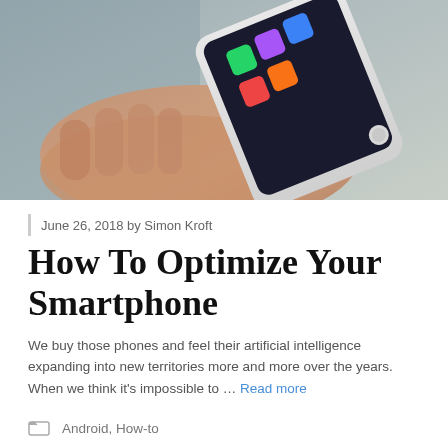[Figure (photo): A hand holding a white smartphone with colorful app icons visible on the screen, photographed against a grey background.]
June 26, 2018 by Simon Kroft
How To Optimize Your Smartphone
We buy those phones and feel their artificial intelligence expanding into new territories more and more over the years. When we think it's impossible to … Read more
Android, How-to
Android, how-to